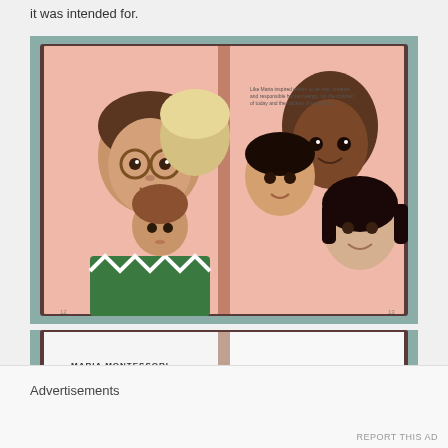it was intended for.
[Figure (photo): Open children's book showing illustrated spread with diverse group of adults and children with cartoon-style artwork, pink background pages. Book is open and resting on a teal/blue surface.]
[Figure (photo): Partial view of the same book from below showing text 'MARIA MONTESSORI' on an open white page spread, resting on teal surface.]
Advertisements